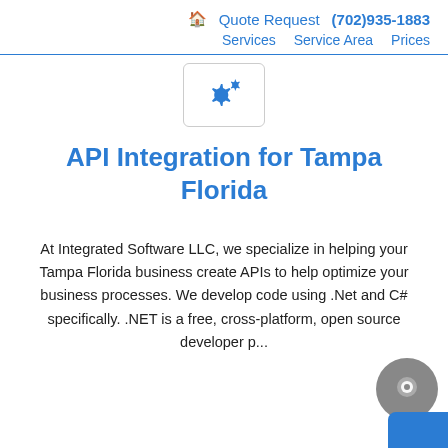🏠 Quote Request (702)935-1883 | Services | Service Area | Prices
[Figure (illustration): Gear/settings icon in a rounded rectangle box]
API Integration for Tampa Florida
At Integrated Software LLC, we specialize in helping your Tampa Florida business create APIs to help optimize your business processes. We develop code using .Net and C# specifically. .NET is a free, cross-platform, open source developer p...